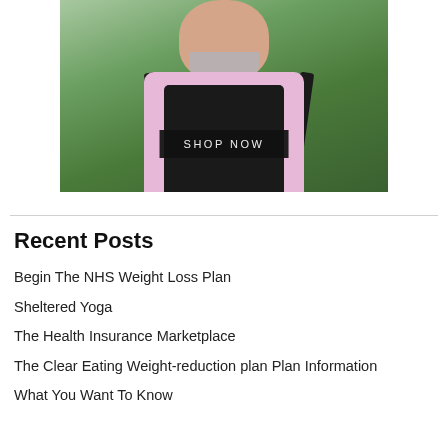[Figure (photo): A man with gray beard wearing a pink shirt and black apron, photographed from the chest up with green foliage background. A 'SHOP NOW' button overlay appears at the bottom of the image.]
Begin The NHS Weight Loss Plan
Sheltered Yoga
The Health Insurance Marketplace
The Clear Eating Weight-reduction plan Plan Information
What You Want To Know